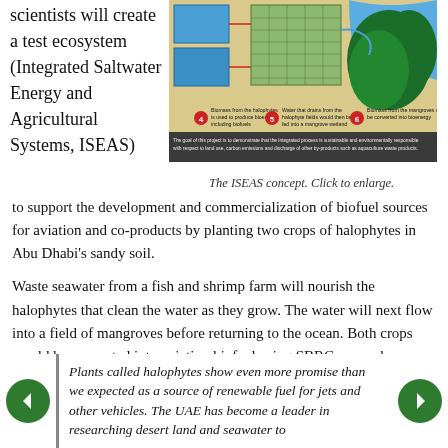scientists will create a test ecosystem (Integrated Saltwater Energy and Agricultural Systems, ISEAS) to support the development and commercialization of biofuel sources for aviation and co-products by planting two crops of halophytes in Abu Dhabi's sandy soil.
[Figure (illustration): Diagram showing the ISEAS concept: an integrated system with aquaculture tanks, halophyte fields, and mangrove wetlands. Numbered labels indicate biomass from halophytes used for bioenergy including biofuels (4), water from halophyte fields fed into mangrove wetland (5), and biomass from mangroves converted into bioenergy (6). A caption bar at bottom reads: The goal of this project is to demonstrate that the integrated process is sustainable and environmentally responsible with respect to land use, carbon emissions and discharge of other by-products such as aquaculture waste products.]
The ISEAS concept. Click to enlarge.
Waste seawater from a fish and shrimp farm will nourish the halophytes that clean the water as they grow. The water will next flow into a field of mangroves before returning to the ocean. Both crops would be converted into aviation biofuel using SBRC research findings.
Plants called halophytes show even more promise than we expected as a source of renewable fuel for jets and other vehicles. The UAE has become a leader in researching desert land and seawater to